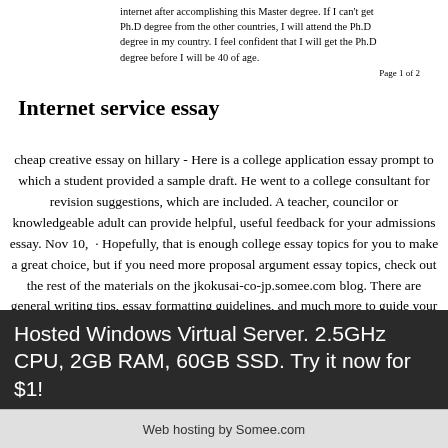internet after accomplishing this Master degree. If I can't get Ph.D degree from the other countries, I will attend the Ph.D degree in my country. I feel confident that I will get the Ph.D degree before I will be 40 of age.
Page 1 of 2
Internet service essay
cheap creative essay on hillary - Here is a college application essay prompt to which a student provided a sample draft. He went to a college consultant for revision suggestions, which are included. A teacher, councilor or knowledgeable adult can provide helpful, useful feedback for your admissions essay. Nov 10,  · Hopefully, that is enough college essay topics for you to make a great choice, but if you need more proposal argument essay topics, check out the rest of the materials on the jkokusai-co-jp.somee.com blog. There are general writing tips, essay formatting guidelines, and much more to guide your writing. Jan 08,  · How do you write a college application essay? 1. Just get going. Staring down a blank page can be the hardest part of writing an essay. So try this exercise to overcome writer's block: Take 20 minutes to jot down a few quick lists of your proudest accomplishments, worst embarrassments, life-changing moments, strongest memories, favorite people, or
Hosted Windows Virtual Server. 2.5GHz CPU, 2GB RAM, 60GB SSD. Try it now for $1!
Web hosting by Somee.com